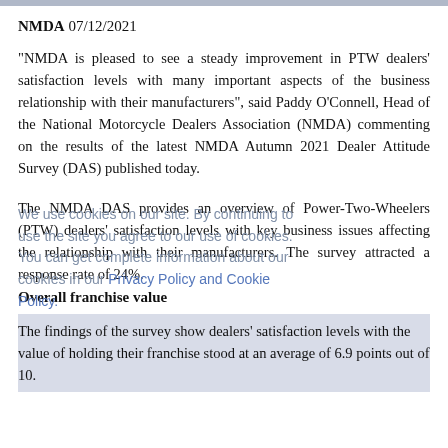NMDA 07/12/2021
“NMDA is pleased to see a steady improvement in PTW dealers’ satisfaction levels with many important aspects of the business relationship with their manufacturers”, said Paddy O’Connell, Head of the National Motorcycle Dealers Association (NMDA) commenting on the results of the latest NMDA Autumn 2021 Dealer Attitude Survey (DAS) published today.
The NMDA DAS provides an overview of Power-Two-Wheelers (PTW) dealers’ satisfaction levels with key business issues affecting the relationship with their manufacturers. The survey attracted a response rate of 24%.
Overall franchise value
The findings of the survey show dealers’ satisfaction levels with the value of holding their franchise stood at an average of 6.9 points out of 10.